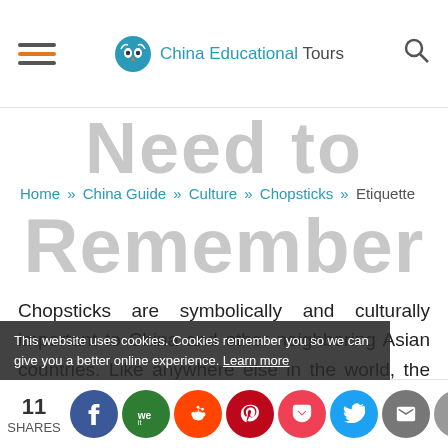China Educational Tours
Need to
Home » China Guide » Culture » Chopsticks » Etiquette
Remember
Chopsticks are symbolically and culturally important to China and other neighboring Asian countries. Like anywhere else in the world, the Chinese are strict about how you use chopsticks. Misusing their favorite eating utensil will make sad, which is not something you want your hosts to feel. ...ve got you a list
This website uses cookies. Cookies remember you so we can give you a better online experience. Learn more
11 SHARES